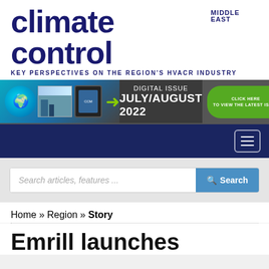[Figure (logo): Climate Control Middle East magazine logo with tagline 'KEY PERSPECTIVES ON THE REGION'S HVACR INDUSTRY']
[Figure (infographic): Digital Issue July/August 2022 banner advertisement with globe, building image, tablet, green arrow, and green CLICK HERE button]
[Figure (screenshot): Dark navy navigation bar with hamburger menu icon]
[Figure (screenshot): Search bar with placeholder 'Search articles, features ...' and blue Search button]
Home » Region » Story
Emrill launches